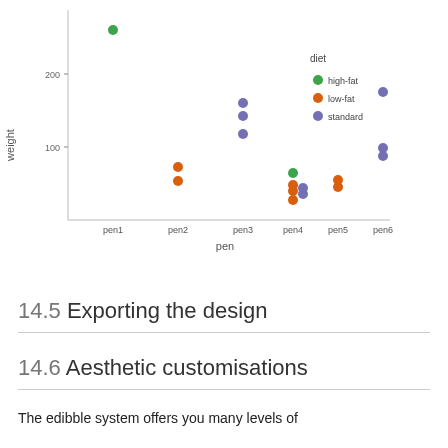[Figure (scatter-plot): ]
14.5 Exporting the design
14.6 Aesthetic customisations
The edibble system offers you many levels of